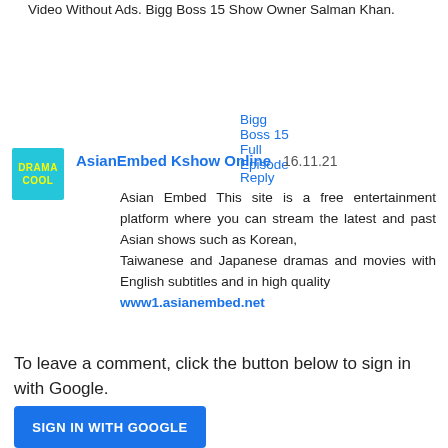Video Without Ads. Bigg Boss 15 Show Owner Salman Khan.
Bigg Boss 15 Full Episode
Reply
AsianEmbed Kshow Online  16.11.21
Asian Embed This site is a free entertainment platform where you can stream the latest and past Asian shows such as Korean, Taiwanese and Japanese dramas and movies with English subtitles and in high quality www1.asianembed.net
Reply
To leave a comment, click the button below to sign in with Google.
SIGN IN WITH GOOGLE